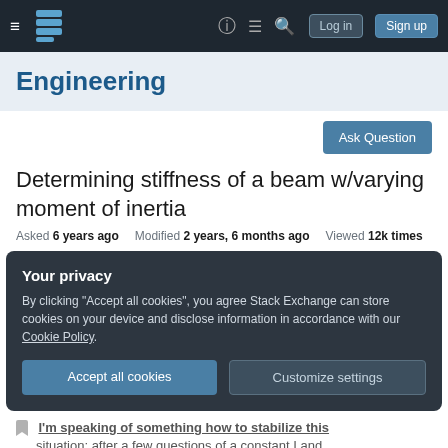Engineering Stack Exchange — navigation bar with Log in and Sign up buttons
Engineering
Determining stiffness of a beam w/varying moment of inertia
Asked 6 years ago   Modified 2 years, 6 months ago   Viewed 12k times
Your privacy
By clicking "Accept all cookies", you agree Stack Exchange can store cookies on your device and disclose information in accordance with our Cookie Policy.
Accept all cookies   Customize settings
I'm speaking of something how to stabilize this situation...